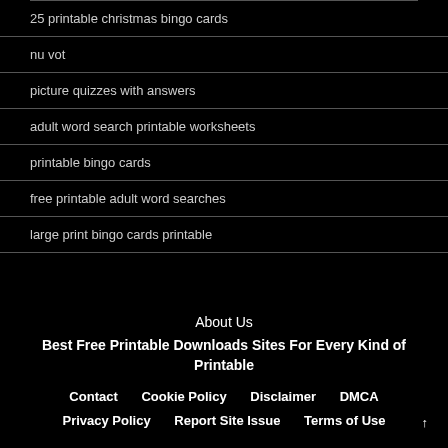25 printable christmas bingo cards
nu vot
picture quizzes with answers
adult word search printable worksheets
printable bingo cards
free printable adult word searches
large print bingo cards printable
About Us
Best Free Printable Downloads Sites For Every Kind of Printable
Contact   Cookie Policy   Disclaimer   DMCA   Privacy Policy   Report Site Issue   Terms of Use